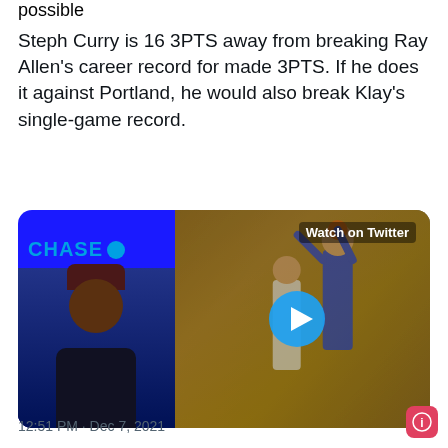possible
Steph Curry is 16 3PTS away from breaking Ray Allen's career record for made 3PTS. If he does it against Portland, he would also break Klay's single-game record.
[Figure (screenshot): Split video thumbnail: left side shows a man in a dark hat and dark hoodie in front of a blue background with CHASE logo; right side shows a basketball game with players mid-action and a blue play button overlay; 'Watch on Twitter' label in top right]
12:51 PM · Dec 7, 2021